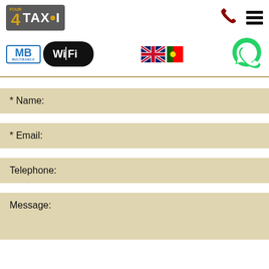[Figure (logo): 4TAXI logo - dark grey background with gold '4' and white 'TAXI' text with gold dot]
[Figure (logo): MB Multibanco logo with blue border and WiFi badge in black oval]
[Figure (logo): UK flag and Portuguese flag side by side]
[Figure (logo): Phone icon (dark red) and hamburger menu icon (black)]
[Figure (logo): WhatsApp green circle icon with phone handset]
* Name:
* Email:
Telephone:
Message: